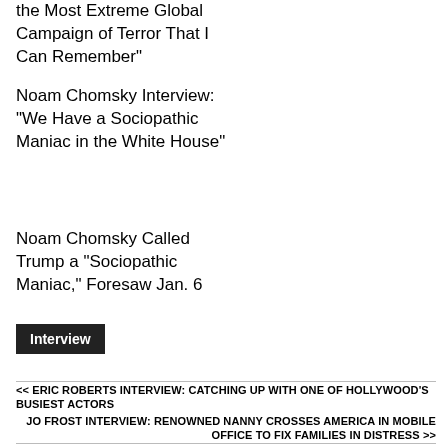the Most Extreme Global Campaign of Terror That I Can Remember"
Noam Chomsky Interview: "We Have a Sociopathic Maniac in the White House"
Noam Chomsky Called Trump a "Sociopathic Maniac," Foresaw Jan. 6
Interview
<< ERIC ROBERTS INTERVIEW: CATCHING UP WITH ONE OF HOLLYWOOD'S BUSIEST ACTORS
JO FROST INTERVIEW: RENOWNED NANNY CROSSES AMERICA IN MOBILE OFFICE TO FIX FAMILIES IN DISTRESS >>